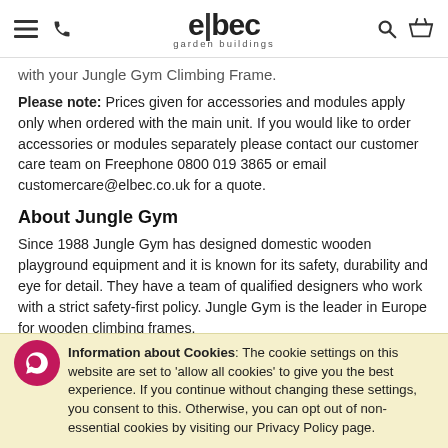elbec garden buildings — navigation header
with your Jungle Gym Climbing Frame.
Please note: Prices given for accessories and modules apply only when ordered with the main unit. If you would like to order accessories or modules separately please contact our customer care team on Freephone 0800 019 3865 or email customercare@elbec.co.uk for a quote.
About Jungle Gym
Since 1988 Jungle Gym has designed domestic wooden playground equipment and it is known for its safety, durability and eye for detail. They have a team of qualified designers who work with a strict safety-first policy. Jungle Gym is the leader in Europe for wooden climbing frames.
Specifications:
Information about Cookies: The cookie settings on this website are set to 'allow all cookies' to give you the best experience. If you continue without changing these settings, you consent to this. Otherwise, you can opt out of non-essential cookies by visiting our Privacy Policy page.